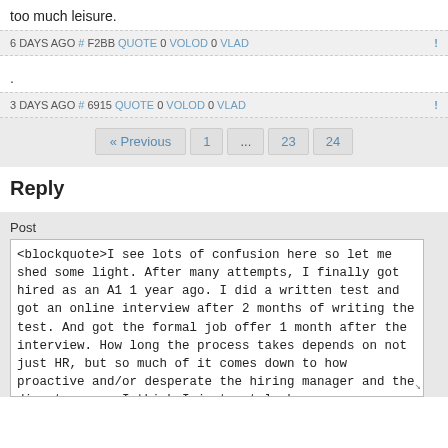too much leisure.
6 DAYS AGO # F2BB QUOTE 0 VOLOD 0 VLAD !
.
3 DAYS AGO # 6915 QUOTE 0 VOLOD 0 VLAD !
« Previous 1 ... 23 24
Reply
Post
<blockquote>I see lots of confusion here so let me shed some light. After many attempts, I finally got hired as an A1 1 year ago. I did a written test and got an online interview after 2 months of writing the test. And got the formal job offer 1 month after the interview. How long the process takes depends on not just HR, but so much of it comes down to how proactive and/or desperate the hiring manager and the director are. I think I just got lucky